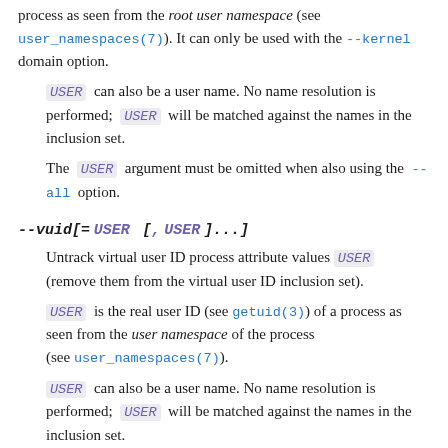process as seen from the root user namespace (see user_namespaces(7)). It can only be used with the --kernel domain option.
USER can also be a user name. No name resolution is performed; USER will be matched against the names in the inclusion set.
The USER argument must be omitted when also using the --all option.
--vuid[= USER [, USER ]...]
Untrack virtual user ID process attribute values USER (remove them from the virtual user ID inclusion set).
USER is the real user ID (see getuid(3)) of a process as seen from the user namespace of the process (see user_namespaces(7)).
USER can also be a user name. No name resolution is performed; USER will be matched against the names in the inclusion set.